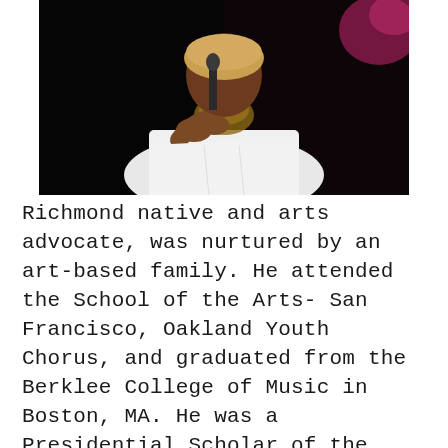[Figure (photo): A performer singing into a microphone, wearing a white shirt and a wrap around the neck, photographed against a dark background.]
Richmond native and arts advocate, was nurtured by an art-based family. He attended the School of the Arts- San Francisco, Oakland Youth Chorus, and graduated from the Berklee College of Music in Boston, MA. He was a Presidential Scholar of the Arts awardee in 1997 and recipient of several awards by the Society of Singers, The GRAMMY Foundation, and Young Arts Program. Lalgee's credits include studying, working, and performing with Ledisi, Zendaya Coleman, Latoya London, Mooncandy live house music ensemble,